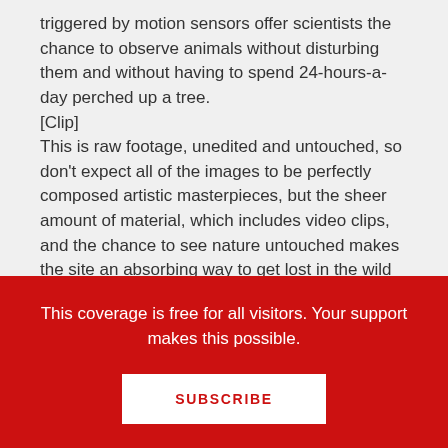triggered by motion sensors offer scientists the chance to observe animals without disturbing them and without having to spend 24-hours-a-day perched up a tree.
[Clip]
This is raw footage, unedited and untouched, so don't expect all of the images to be perfectly composed artistic masterpieces, but the sheer amount of material, which includes video clips, and the chance to see nature untouched makes the site an absorbing way to get lost in the wild web.
Dirt the Lorem Colli...
This coverage is free for all visitors. Your support makes this possible.
SUBSCRIBE